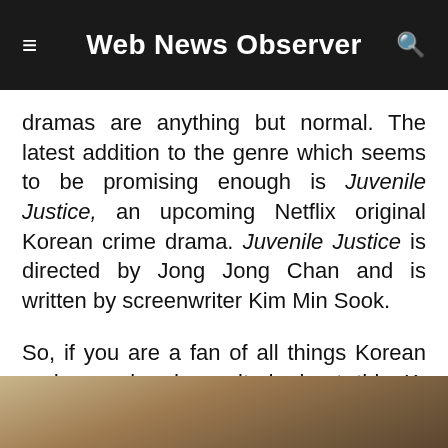Web News Observer
dramas are anything but normal. The latest addition to the genre which seems to be promising enough is Juvenile Justice, an upcoming Netflix original Korean crime drama. Juvenile Justice is directed by Jong Jong Chan and is written by screenwriter Kim Min Sook.
So, if you are a fan of all things Korean and are already excited about this K-drama, here we have all the latest updates about it.
[Figure (photo): Bottom portion of an image, partially visible, showing warm tones suggesting a scene from the show or related imagery.]